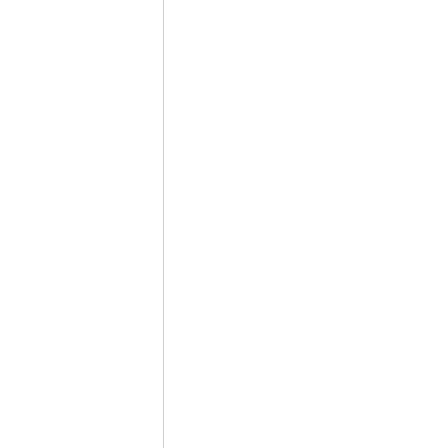selection of the highest quality beers steeped in centuries o... Coors Brewing Company offer domestic favorites such as Co... Banquet, as well as innovative new products such as Miller F... and import division, offers beers such as Leinenkugel's Sum... Leinenkugel Brewing Company and Blue Moon Belgian White... Company. Tenth and Blake also operates Crispin Cidery, an... percent fresh-pressed American juice. The company imports... Czech Republic's Pilsner Urquell and the Netherlands' Grolsc... such as Redd's Apple Ale, Batch 19 Pre-Prohibition Lager, Thi... MillerCoors seeks to become America's best beer company t... keen focus on innovation and a deep commitment to sustain... and Molson Coors Brewing Company. Learn more at MillerCo... through @MillerCoors.
About TEAM Coalition
TEAM Coalition is an alliance of professional and collegiate s... stadium service providers, the beer industry, distillers, broa... others working together to promote responsible drinking an... facilities. TEAM's 21 members and supporters include NASCA... National Basketball Association, the National Football League...